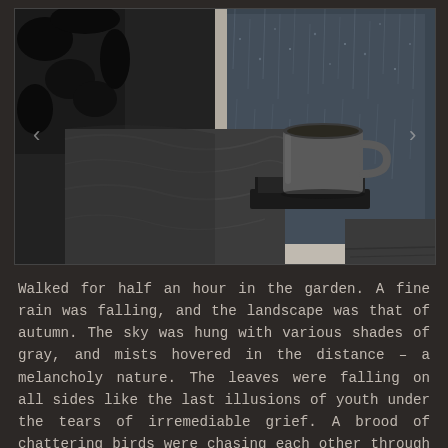[Figure (photo): Black and white photograph of a mug of tea or coffee sitting on a book near a rain-streaked window, with a blanket or fabric in the foreground and what appears to be a cowhide or black-and-white patterned item on the left.]
Walked for half an hour in the garden. A fine rain was falling, and the landscape was that of autumn. The sky was hung with various shades of gray, and mists hovered in the distance – a melancholy nature. The leaves were falling on all sides like the last illusions of youth under the tears of irremediable grief. A brood of chattering birds were chasing each other through the shrubberies, and playing games among the branches, like a knot of hiding schoolboys. Every